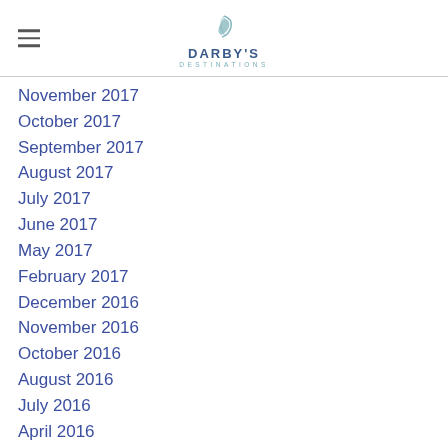DARBY'S DESTINATIONS
November 2017
October 2017
September 2017
August 2017
July 2017
June 2017
May 2017
February 2017
December 2016
November 2016
October 2016
August 2016
July 2016
April 2016
March 2016
October 2015
[Figure (logo): RSS feed icon (orange)]